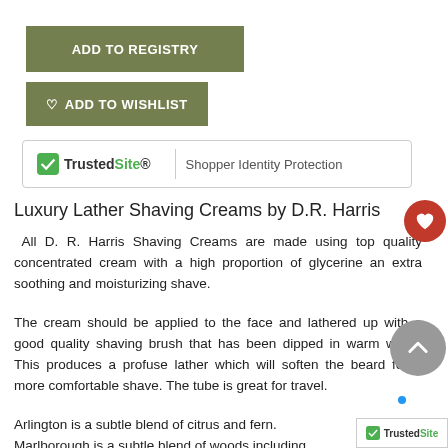ADD TO REGISTRY
ADD TO WISHLIST
[Figure (logo): TrustedSite banner with Shopper Identity Protection text]
Luxury Lather Shaving Creams by D.R. Harris
All D. R. Harris Shaving Creams are made using top quality concentrated cream with a high proportion of glycerine an extra soothing and moisturizing shave.
The cream should be applied to the face and lathered up with a good quality shaving brush that has been dipped in warm water. This produces a profuse lather which will soften the beard for a more comfortable shave. The tube is great for travel.
Arlington is a subtle blend of citrus and fern.
Marlborough is a subtle blend of woods including